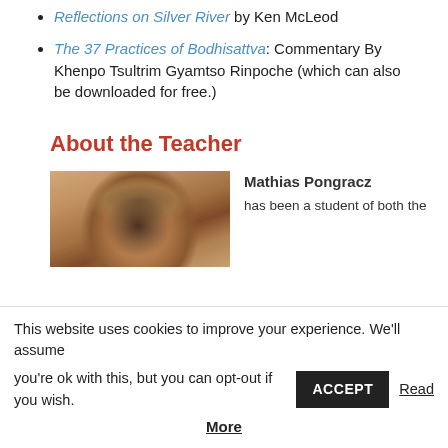Reflections on Silver River by Ken McLeod
The 37 Practices of Bodhisattva: Commentary By Khenpo Tsultrim Gyamtso Rinpoche (which can also be downloaded for free.)
About the Teacher
[Figure (photo): Headshot photo of Mathias Pongracz, a man with grey hair against an orange/brown background]
Mathias Pongracz has been a student of both the
This website uses cookies to improve your experience. We'll assume you're ok with this, but you can opt-out if you wish. ACCEPT Read More